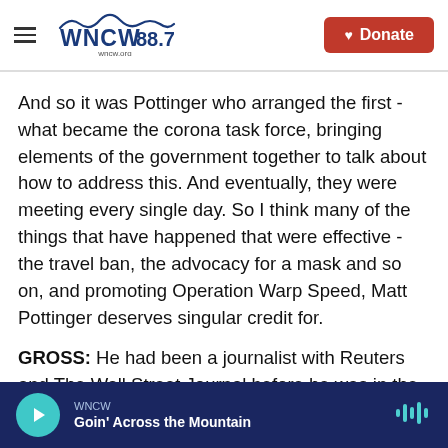WNCW 88.7 | wncw.org | Donate
And so it was Pottinger who arranged the first - what became the corona task force, bringing elements of the government together to talk about how to address this. And eventually, they were meeting every single day. So I think many of the things that have happened that were effective - the travel ban, the advocacy for a mask and so on, and promoting Operation Warp Speed, Matt Pottinger deserves singular credit for.
GROSS: He had been a journalist with Reuters and The Wall Street Journal before he was in the
WNCW | Goin' Across the Mountain